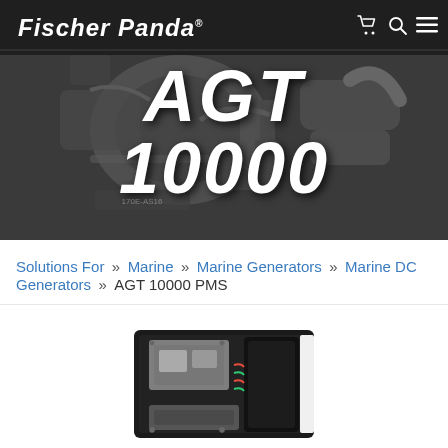Fischer Panda
AGT 10000
Solutions For » Marine » Marine Generators » Marine DC Generators » AGT 10000 PMS
[Figure (photo): Fischer Panda AGT 10000 PMS marine DC generator unit, viewed from above, showing engine components, black casing, silver/metallic parts on white background]